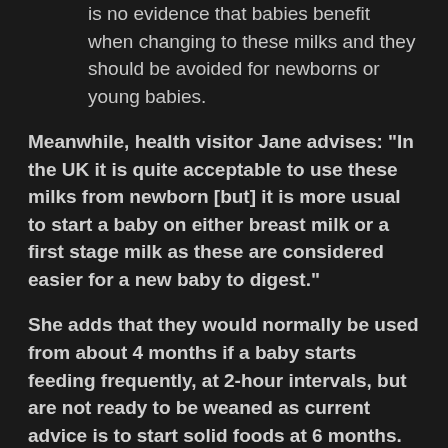is no evidence that babies benefit when changing to these milks and they should be avoided for newborns or young babies.
Meanwhile, health visitor Jane advises: “In the UK it is quite acceptable to use these milks from newborn [but] it is more usual to start a baby on either breast milk or a first stage milk as these are considered easier for a new baby to digest.”
She adds that they would normally be used from about 4 months if a baby starts feeding frequently, at 2-hour intervals, but are not ready to be weaned as current advice is to start solid foods at 6 months.
However, many MadeForMumers say changing to hungry